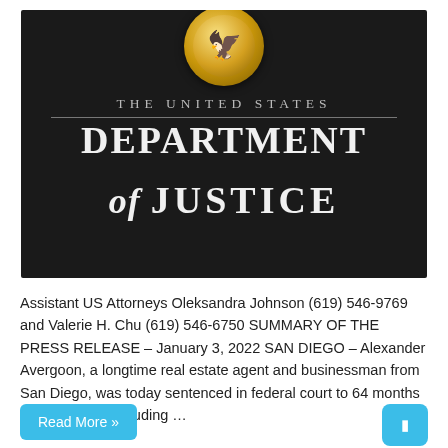[Figure (logo): United States Department of Justice official logo/header image on dark background, featuring a gold eagle seal coin at top, text 'THE UNITED STATES' in spaced grey letters, and 'DEPARTMENT of JUSTICE' in large white serif bold lettering]
Assistant US Attorneys Oleksandra Johnson (619) 546-9769 and Valerie H. Chu (619) 546-6750 SUMMARY OF THE PRESS RELEASE – January 3, 2022 SAN DIEGO – Alexander Avergoon, a longtime real estate agent and businessman from San Diego, was today sentenced in federal court to 64 months in prison for defrauding …